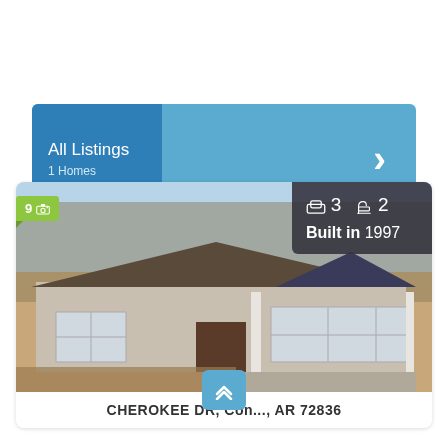All Listings
1 Homes
[Figure (photo): Exterior photo of a single-story brick ranch home with dark shingled roof, white trim, trees in background, winter/fall setting. Green lawn area in front is dried/dormant.]
9 📷  🛏 3  🚿 2  Built in 1997
CHEROKEE DR, Con..., AR 72036